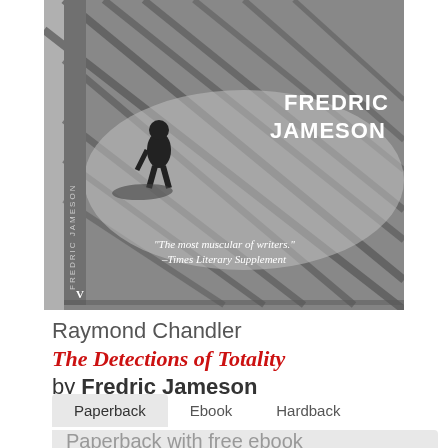[Figure (photo): Book cover of 'Raymond Chandler: The Detections of Totality' by Fredric Jameson. Black and white image of a lone figure walking on a street casting a shadow. Text on cover: 'FREDRIC JAMESON', quote 'The most muscular of writers.' -Times Literary Supplement, Verso publisher logo.]
Raymond Chandler
The Detections of Totality
by Fredric Jameson
Paperback   Ebook   Hardback
Paperback with free ebook